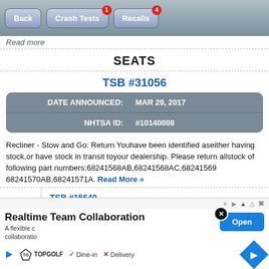[Figure (screenshot): Navigation bar with Back, Crash Tests (badge: 1), Recalls (badge: 4) buttons]
Read More
SEATS
TSB #31056
| DATE ANNOUNCED: | MAR 29, 2017 |
| --- | --- |
| NHTSA ID: | #10140008 |
Recliner - Stow and Go: Return Youhave been identified aseither having stock,or have stock in transit toyour dealership. Please return allstock of following part numbers:68241568AB,68241568AC,68241569,68241570AB,68241571A. Read More »
TSB #15640
[Figure (screenshot): Advertisement overlay: Realtime Team Collaboration ad with Topgolf logo, Dine-in checkmark, Delivery X, navigation arrow, and open button]